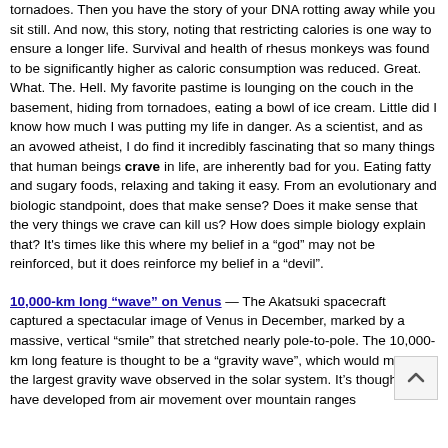tornadoes.  Then you have the story of your DNA rotting away while you sit still.  And now, this story, noting that restricting calories is one way to ensure a longer life. Survival and health of rhesus monkeys was found to be significantly higher as caloric consumption was reduced.  Great.  What.  The.  Hell.  My favorite pastime is lounging on the couch in the basement, hiding from tornadoes, eating a bowl of ice cream.  Little did I know how much I was putting my life in danger. As a scientist, and as an avowed atheist, I do find it incredibly fascinating that so many things that human beings crave in life, are inherently bad for you.  Eating fatty and sugary foods, relaxing and taking it easy.  From an evolutionary and biologic standpoint, does that make sense?  Does it make sense that the very things we crave can kill us? How does simple biology explain that?  It's times like this where my belief in a “god” may not be reinforced, but it does reinforce my belief in a “devil”.
10,000-km long “wave” on Venus — The Akatsuki spacecraft captured a spectacular image of Venus in December, marked by a massive, vertical “smile” that stretched nearly pole-to-pole.  The 10,000-km long feature is thought to be a “gravity wave”, which would make it the largest gravity wave observed in the solar system.  It's thought to have developed from air movement over mountain ranges